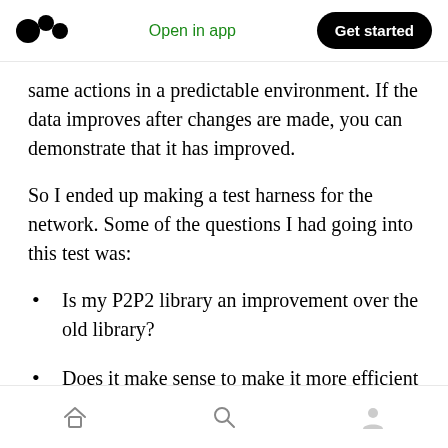Open in app | Get started
same actions in a predictable environment. If the data improves after changes are made, you can demonstrate that it has improved.
So I ended up making a test harness for the network. Some of the questions I had going into this test was:
Is my P2P2 library an improvement over the old library?
Does it make sense to make it more efficient if the limiting factor is the network?
Home | Search | Profile